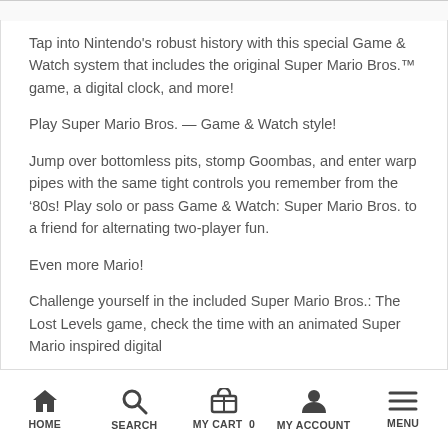Tap into Nintendo’s robust history with this special Game & Watch system that includes the original Super Mario Bros.™ game, a digital clock, and more!
Play Super Mario Bros. — Game & Watch style!
Jump over bottomless pits, stomp Goombas, and enter warp pipes with the same tight controls you remember from the ‘’’’’’80s! Play solo or pass Game & Watch: Super Mario Bros. to a friend for alternating two-player fun.
Even more Mario!
Challenge yourself in the included Super Mario Bros.: The Lost Levels game, check the time with an animated Super Mario inspired digital
HOME   SEARCH   MY CART 0   MY ACCOUNT   MENU